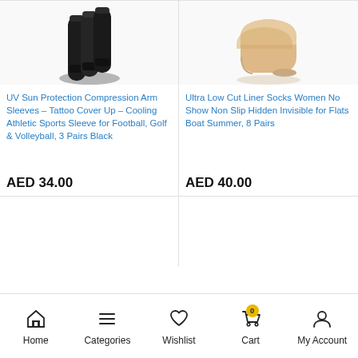[Figure (photo): Black compression arm sleeves product image]
[Figure (photo): Beige/skin-tone no-show liner socks product image]
UV Sun Protection Compression Arm Sleeves – Tattoo Cover Up – Cooling Athletic Sports Sleeve for Football, Golf & Volleyball, 3 Pairs Black
AED 34.00
Ultra Low Cut Liner Socks Women No Show Non Slip Hidden Invisible for Flats Boat Summer, 8 Pairs
AED 40.00
Home   Categories   Wishlist   Cart   My Account